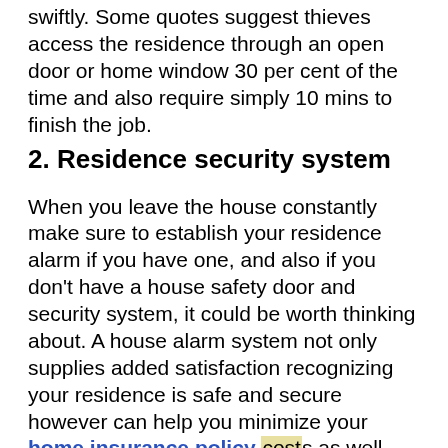swiftly. Some quotes suggest thieves access the residence through an open door or home window 30 per cent of the time and also require simply 10 mins to finish the job.
2. Residence security system
When you leave the house constantly make sure to establish your residence alarm if you have one, and also if you don't have a house safety door and security system, it could be worth thinking about. A house alarm system not only supplies added satisfaction recognizing your residence is safe and secure however can help you minimize your home insurance policy costs as well. Depending upon the type of system you get (or have), you can most likely anticipate to receive a 5 per cent discount